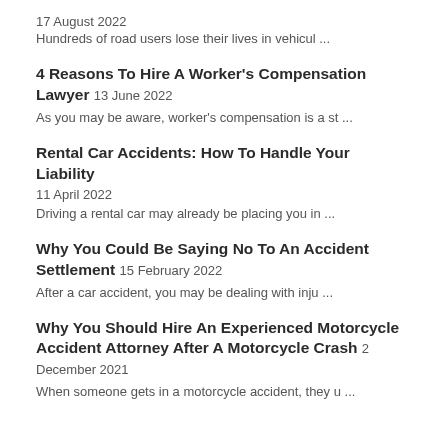17 August 2022
Hundreds of road users lose their lives in vehicul ...
4 Reasons To Hire A Worker's Compensation Lawyer 13 June 2022
As you may be aware, worker's compensation is a st ...
Rental Car Accidents: How To Handle Your Liability
11 April 2022
Driving a rental car may already be placing you in ...
Why You Could Be Saying No To An Accident Settlement 15 February 2022
After a car accident, you may be dealing with inju ...
Why You Should Hire An Experienced Motorcycle Accident Attorney After A Motorcycle Crash 2 December 2021
When someone gets in a motorcycle accident, they u ...